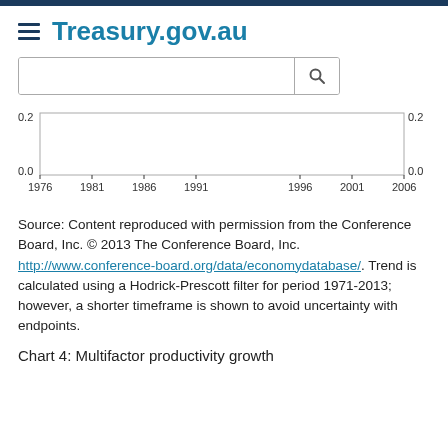Treasury.gov.au
[Figure (continuous-plot): Partial chart showing y-axis values 0.0 and 0.2 on both left and right sides, x-axis showing years 1976, 1981, 1986, 1991, 1996, 2001, 2006. The chart area appears nearly empty/flat at the bottom.]
Source: Content reproduced with permission from the Conference Board, Inc. © 2013 The Conference Board, Inc. http://www.conference-board.org/data/economydatabase/. Trend is calculated using a Hodrick-Prescott filter for period 1971-2013; however, a shorter timeframe is shown to avoid uncertainty with endpoints.
Chart 4: Multifactor productivity growth